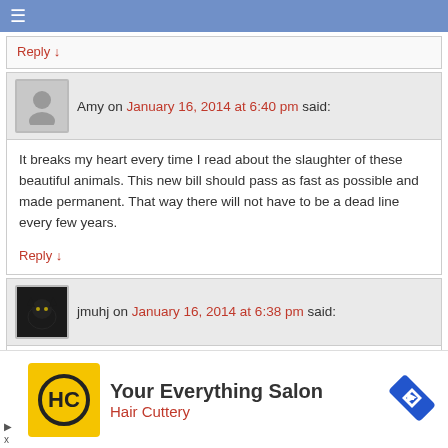≡
Reply ↓
Amy on January 16, 2014 at 6:40 pm said:
It breaks my heart every time I read about the slaughter of these beautiful animals. This new bill should pass as fast as possible and made permanent. That way there will not have to be a dead line every few years.
Reply ↓
jmuhj on January 16, 2014 at 6:38 pm said:
Y GLAD to read this. Jo. and hope that it sets the matter
Your Everything Salon
Hair Cuttery